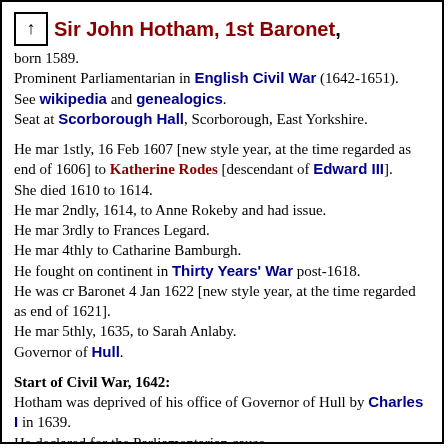Sir John Hotham, 1st Baronet, born 1589.
Prominent Parliamentarian in English Civil War (1642-1651).
See wikipedia and genealogics.
Seat at Scorborough Hall, Scorborough, East Yorkshire.
He mar 1stly, 16 Feb 1607 [new style year, at the time regarded as end of 1606] to Katherine Rodes [descendant of Edward III].
She died 1610 to 1614.
He mar 2ndly, 1614, to Anne Rokeby and had issue.
He mar 3rdly to Frances Legard.
He mar 4thly to Catharine Bamburgh.
He fought on continent in Thirty Years' War post-1618.
He was cr Baronet 4 Jan 1622 [new style year, at the time regarded as end of 1621].
He mar 5thly, 1635, to Sarah Anlaby.
Governor of Hull.
Start of Civil War, 1642:
Hotham was deprived of his office of Governor of Hull by Charles I in 1639.
He declared for the Parliamentarian cause.